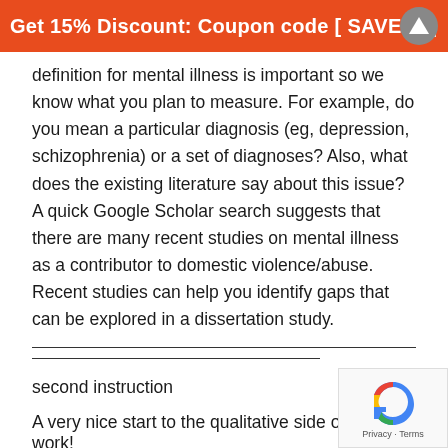Get 15% Discount: Coupon code [ SAVE15 ]
definition for mental illness is important so we know what you plan to measure. For example, do you mean a particular diagnosis (eg, depression, schizophrenia) or a set of diagnoses? Also, what does the existing literature say about this issue? A quick Google Scholar search suggests that there are many recent studies on mental illness as a contributor to domestic violence/abuse. Recent studies can help you identify gaps that can be explored in a dissertation study.
second instruction
A very nice start to the qualitative side of this work!